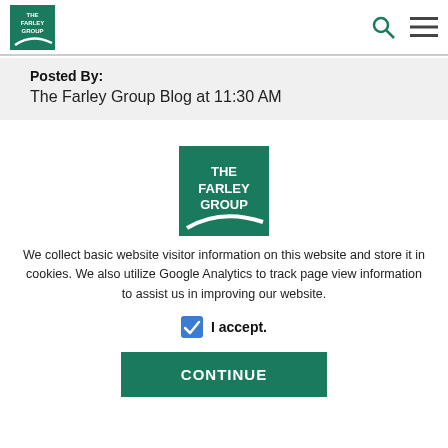THE FARLEY GROUP — navigation header with logo, search, and menu icons
Posted By:
The Farley Group Blog at 11:30 AM
[Figure (logo): The Farley Group logo — white text on teal/green background with swoosh]
We collect basic website visitor information on this website and store it in cookies. We also utilize Google Analytics to track page view information to assist us in improving our website.
I accept.
CONTINUE